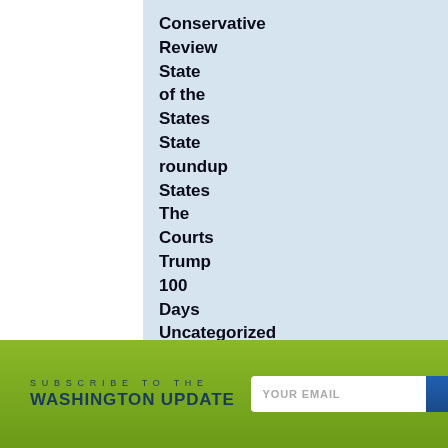Conservative Review
State of the States
State roundup
States
The Courts
Trump 100 Days
Uncategorized
Video
SUBSCRIBE TO THE WASHINGTON UPDATE
YOUR EMAIL
GO